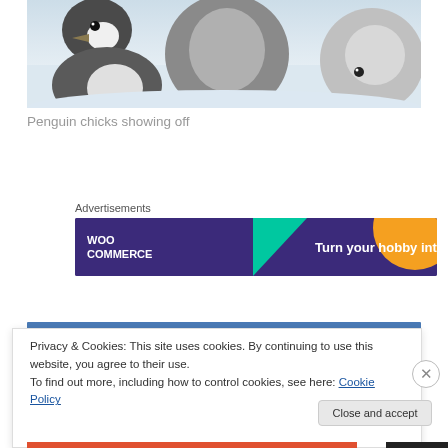[Figure (photo): Penguin chicks on snow, showing off]
Penguin chicks showing off
Advertisements
[Figure (screenshot): WooCommerce advertisement banner: Turn your hobby into]
Privacy & Cookies: This site uses cookies. By continuing to use this website, you agree to their use.
To find out more, including how to control cookies, see here: Cookie Policy
Close and accept